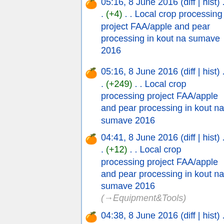05:16, 8 June 2016 (diff | hist) . . (+4) . . Local crop processing project FAA/apple and pear processing in kout na sumave 2016
05:16, 8 June 2016 (diff | hist) . . (+249) . . Local crop processing project FAA/apple and pear processing in kout na sumave 2016
04:41, 8 June 2016 (diff | hist) . . (+12) . . Local crop processing project FAA/apple and pear processing in kout na sumave 2016 (→Equipment&Tools)
04:38, 8 June 2016 (diff | hist) . . (-7) . . Local crop processing project FAA/apple and pear processing in kout na